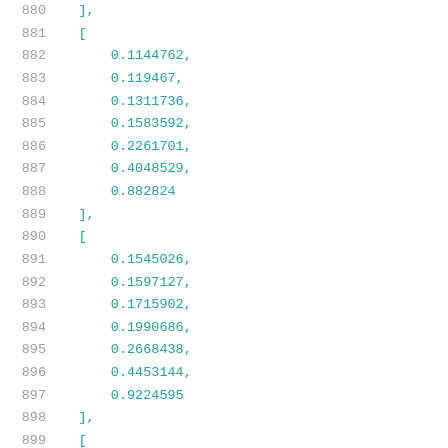880    ],
881    [
882        0.1144762,
883        0.119467,
884        0.1311736,
885        0.1583592,
886        0.2261701,
887        0.4048529,
888        0.882824
889    ],
890    [
891        0.1545026,
892        0.1597127,
893        0.1715902,
894        0.1990686,
895        0.2668438,
896        0.4453144,
897        0.9224595
898    ],
899    [
900        0.2087926,